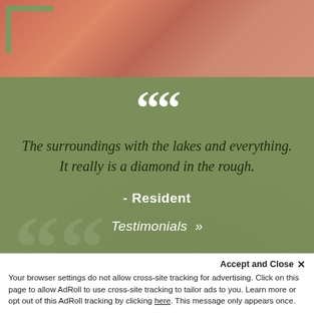[Figure (photo): Top strip showing partial view of person in red swimwear near a pool, with green bracket corner overlay]
““
The surroundings with the lakes and everything. It really is a diamond in the rough.
- Resident
Testimonials »
[Figure (photo): Bottom strip showing three panels: dark wood post/railing, wooden deck/fence, and green tree foliage]
Accept and Close ×
Your browser settings do not allow cross-site tracking for advertising. Click on this page to allow AdRoll to use cross-site tracking to tailor ads to you. Learn more or opt out of this AdRoll tracking by clicking here. This message only appears once.